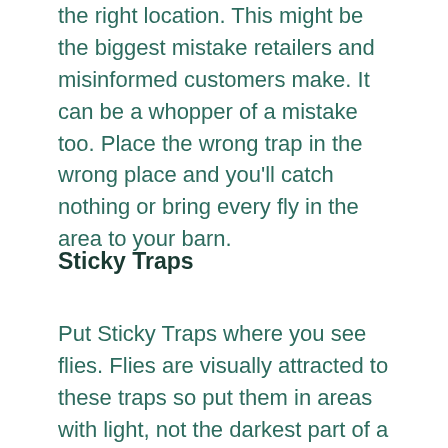the right location. This might be the biggest mistake retailers and misinformed customers make. It can be a whopper of a mistake too. Place the wrong trap in the wrong place and you'll catch nothing or bring every fly in the area to your barn.
Sticky Traps
Put Sticky Traps where you see flies. Flies are visually attracted to these traps so put them in areas with light, not the darkest part of a barn. Because House Flies generally rest higher up where it's warmer, put Sticky Traps up high, above your critter's reach. Sticky Traps are good for inside the barn because